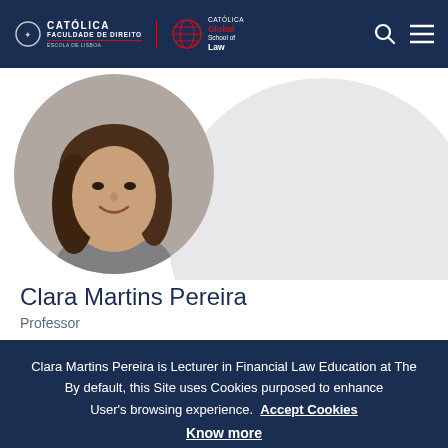[Figure (logo): Católica Faculdade de Direito - Escola de Lisboa logo and Católica Global School of Law logo in white header bar with search and menu icons]
[Figure (photo): Circular profile photo of Clara Martins Pereira, a woman with long dark brown hair, smiling, against a light grey circular background]
Clara Martins Pereira
Professor
Clara Martins Pereira is Lecturer in Financial Law Education at The... is also Sti...
By default, this Site uses Cookies purposed to enhance User's browsing experience.  Accept Cookies Know more